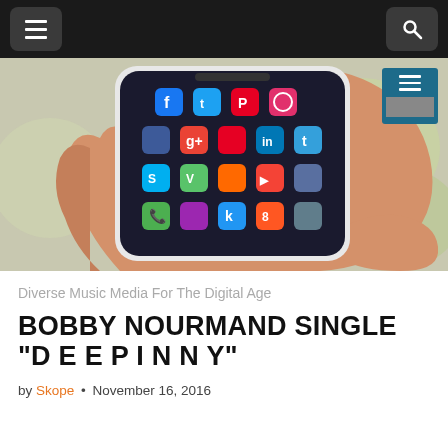[Figure (photo): Hand holding a smartphone displaying social media app icons including Facebook, Twitter, Pinterest, Instagram, Google+, LinkedIn, YouTube, Skype, Tumblr, Viber, and others on a dark screen. Blurred background.]
[Figure (screenshot): Small thumbnail image with teal/blue background showing a hamburger menu icon, overlaid on the main photo in the top-right corner.]
Diverse Music Media For The Digital Age
BOBBY NOURMAND SINGLE “D E E P I N N Y”
by Skope • November 16, 2016